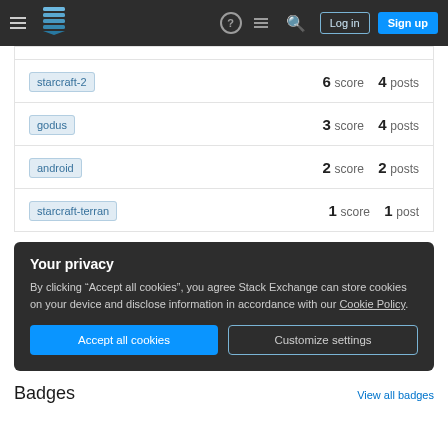Stack Exchange navigation bar with Log in and Sign up buttons
| Tag | Score | Posts |
| --- | --- | --- |
| starcraft-2 | 6 score | 4 posts |
| godus | 3 score | 4 posts |
| android | 2 score | 2 posts |
| starcraft-terran | 1 score | 1 post |
Your privacy
By clicking "Accept all cookies", you agree Stack Exchange can store cookies on your device and disclose information in accordance with our Cookie Policy.
Accept all cookies   Customize settings
Badges
View all badges